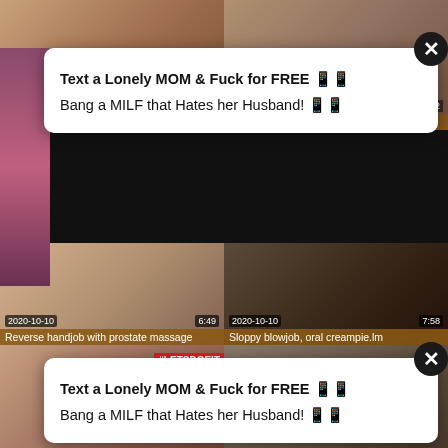[Figure (screenshot): Video thumbnail grid with two popup ad overlays. Top row: two adult video thumbnails partially visible. Two white popup ad boxes with close buttons. Middle row: two video thumbnails with dates 2020-10-10 and durations 6:49 and 7:58. Bottom row: two more video thumbnails. Labels on thumbnails: 'LUBED Numerous Oiled Down Tight', 'Anal Delight for Nicole with Monster', 'Reverse handjob with prostate massage', 'Sloppy blowjob, oral creampie.lm'. Popup text: 'Text a Lonely MOM & Fuck for FREE' and 'Bang a MILF that Hates her Husband!']